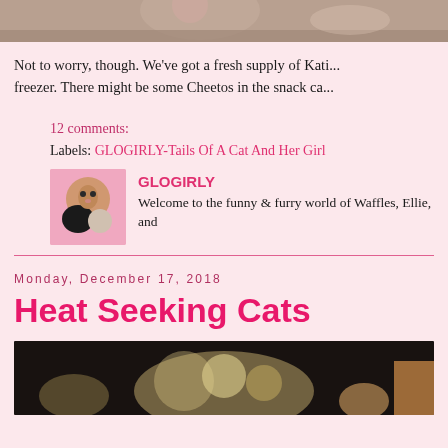[Figure (photo): Top portion of a photo, appears to be a cat on a patterned surface]
Not to worry, though. We've got a fresh supply of Kati... freezer. There might be some Cheetos in the snack ca...
12 comments:
Labels: GLOGIRLY-Tails Of A Cat And Her Girl
GLOGIRLY
Welcome to the funny & furry world of Waffles, Ellie, and...
Monday, December 17, 2018
Heat Seeking Cats
[Figure (photo): Bottom portion showing a cat near a decorative patterned surface with dark background]